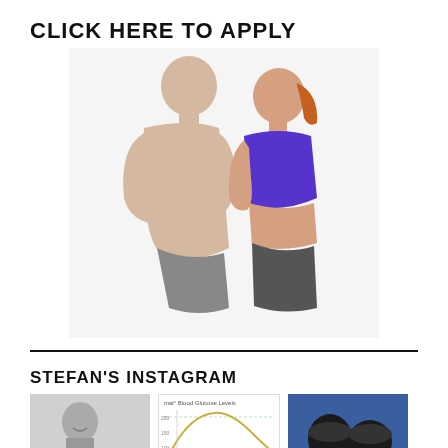CLICK HERE TO APPLY
[Figure (photo): A muscular shirtless man and a fit woman in a purple sports bra posing together against a white background]
STEFAN'S INSTAGRAM
[Figure (photo): Three Instagram thumbnail images: a black-and-white portrait of a woman, a blood glucose levels chart, and cylindrical objects on a blue surface]